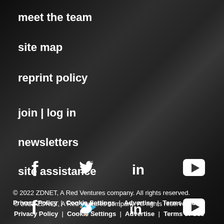meet the team
site map
reprint policy
join | log in
newsletters
site assistance
[Figure (infographic): Social media icons: Facebook, Twitter, LinkedIn, YouTube]
© 2022 ZDNET, A Red Ventures company. All rights reserved. Privacy Policy | Cookie Settings | Advertise | Terms of Use